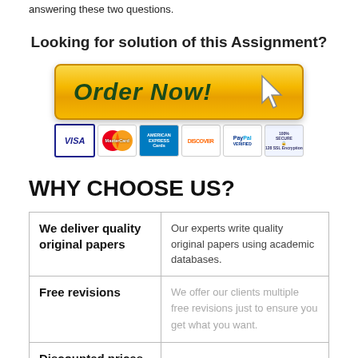answering these two questions.
Looking for solution of this Assignment?
[Figure (other): Orange/gold 'Order Now!' button with cursor arrow icon and payment method icons below (VISA, MasterCard, American Express, Discover, PayPal, 100% Secure 128 SSL Encryption)]
WHY CHOOSE US?
| Feature | Description |
| --- | --- |
| We deliver quality original papers | Our experts write quality original papers using academic databases. |
| Free revisions | We offer our clients multiple free revisions just to ensure you get what you want. |
| Discounted prices |  |